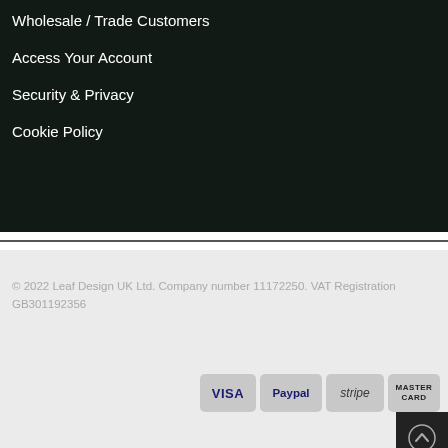Wholesale / Trade Customers
Access Your Account
Security & Privacy
Cookie Policy
© 2022 Leaf Design UK Ltd. Company number 11172250. VAT Registration GB301192356
[Figure (other): Payment method badges: VISA, Paypal, stripe, MASTERCARD. Plus a scroll-to-top button.]